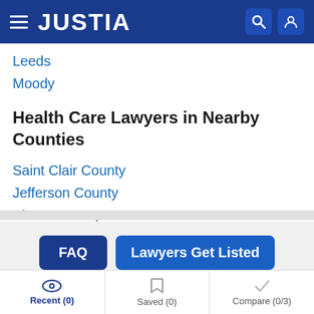JUSTIA
Leeds
Moody
Health Care Lawyers in Nearby Counties
Saint Clair County
Jefferson County
Blount County
FAQ
Lawyers Get Listed
Related Practice Areas
Recent (0)  Saved (0)  Compare (0/3)